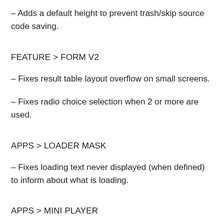– Adds a default height to prevent trash/skip source code saving.
FEATURE > FORM V2
– Fixes result table layout overflow on small screens.
– Fixes radio choice selection when 2 or more are used.
APPS > LOADER MASK
– Fixes loading text never displayed (when defined) to inform about what is loading.
APPS > MINI PLAYER
– Fixes layout resize when mini player is visible.
► May 26, 2020